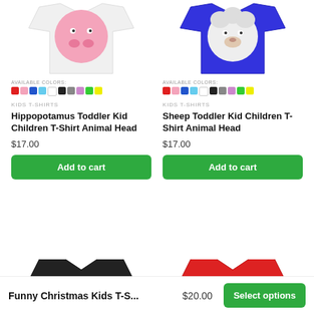[Figure (photo): White kids t-shirt with pink hippopotamus face]
[Figure (photo): Royal blue kids t-shirt with sheep/animal face]
AVAILABLE COLORS:
AVAILABLE COLORS:
KIDS T-SHIRTS
Hippopotamus Toddler Kid Children T-Shirt Animal Head
$17.00
KIDS T-SHIRTS
Sheep Toddler Kid Children T-Shirt Animal Head
$17.00
Add to cart
Add to cart
[Figure (photo): Black kids t-shirt (partially visible)]
[Figure (photo): Red kids t-shirt (partially visible)]
Funny Christmas Kids T-S...
$20.00
Select options